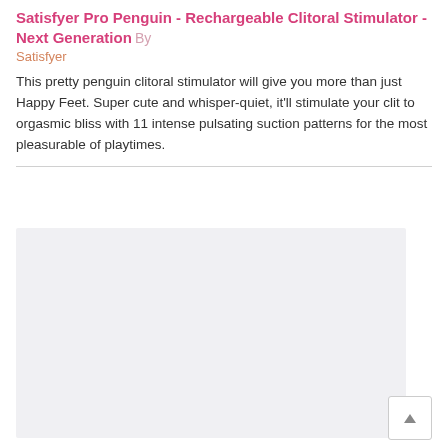Satisfyer Pro Penguin - Rechargeable Clitoral Stimulator - Next Generation By Satisfyer
This pretty penguin clitoral stimulator will give you more than just Happy Feet. Super cute and whisper-quiet, it'll stimulate your clit to orgasmic bliss with 11 intense pulsating suction patterns for the most pleasurable of playtimes.
[Figure (photo): Product image placeholder - light gray rectangle]